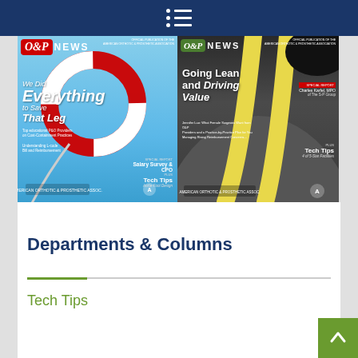Navigation menu bar
[Figure (photo): Two magazine covers for O&P News. Left cover features a life preserver ring on a blue sky background with headline 'We Did Everything to Save That Leg' and Tech Tips section. Right cover features a road with yellow lane markings with headline 'Going Lean and Driving Value' and Tech Tips section.]
Departments & Columns
Tech Tips